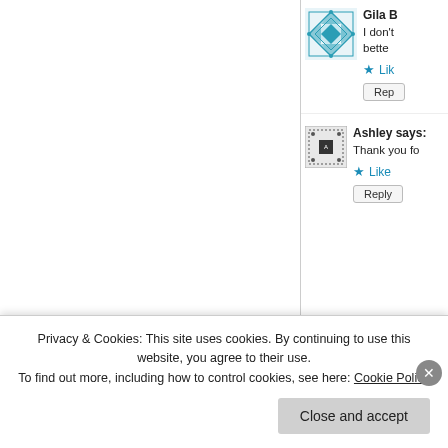Gila B
I don't better
★ Lik
Repl
Ashley says:
Thank you fo
★ Like
Reply
Privacy & Cookies: This site uses cookies. By continuing to use this website, you agree to their use.
To find out more, including how to control cookies, see here: Cookie Policy
Close and accept